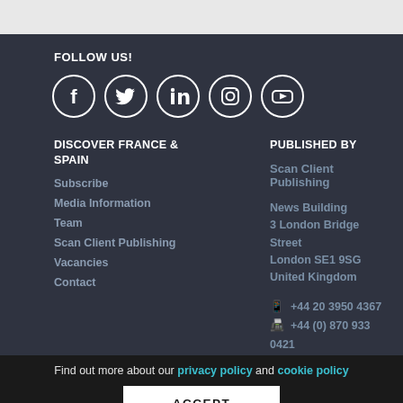FOLLOW US!
[Figure (illustration): Five social media icons in circles: Facebook, Twitter, LinkedIn, Instagram, YouTube]
DISCOVER FRANCE & SPAIN
Subscribe
Media Information
Team
Scan Client Publishing
Vacancies
Contact
PUBLISHED BY
Scan Client Publishing
News Building
3 London Bridge Street
London SE1 9SG
United Kingdom
+44 20 3950 4367
+44 (0) 870 933 0421
Find out more about our privacy policy and cookie policy
ACCEPT